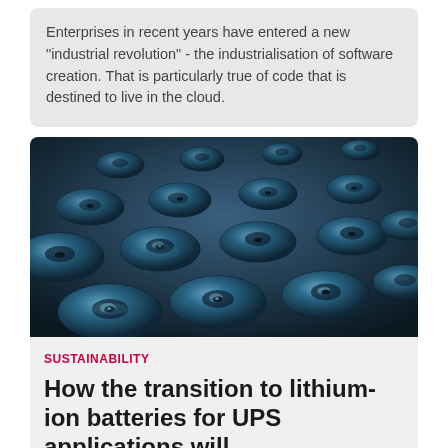Enterprises in recent years have entered a new "industrial revolution" - the industrialisation of software creation. That is particularly true of code that is destined to live in the cloud.
[Figure (photo): Rows of cylindrical lithium-ion batteries viewed from above at an angle, dark blue metallic finish with circular positive terminals, extending into the distance]
SUSTAINABILITY
How the transition to lithium-ion batteries for UPS applications will